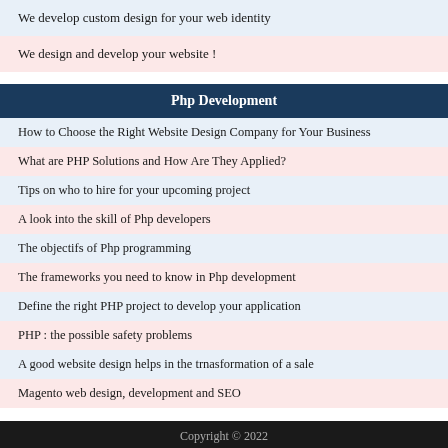We develop custom design for your web identity
We design and develop your website !
Php Development
How to Choose the Right Website Design Company for Your Business
What are PHP Solutions and How Are They Applied?
Tips on who to hire for your upcoming project
A look into the skill of Php developers
The objectifs of Php programming
The frameworks you need to know in Php development
Define the right PHP project to develop your application
PHP : the possible safety problems
A good website design helps in the trnasformation of a sale
Magento web design, development and SEO
Copyright © 2022